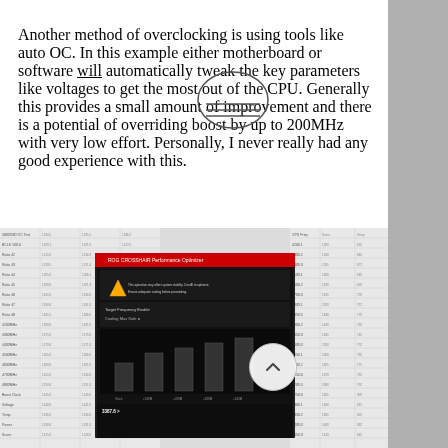Another method of overclocking is using tools like auto OC. In this example either motherboard or software will automatically tweak the key parameters like voltages to get the most out of the CPU. Generally this provides a small amount of improvement and there is a potential of overriding boost by up to 200MHz with very low effort. Personally, I never really had any good experience with this.
[Figure (screenshot): Screenshot of an ASUS overclocking software tool (auto OC interface) showing CPU performance graphs and stats, overlaid on a spreadsheet of benchmark data.]